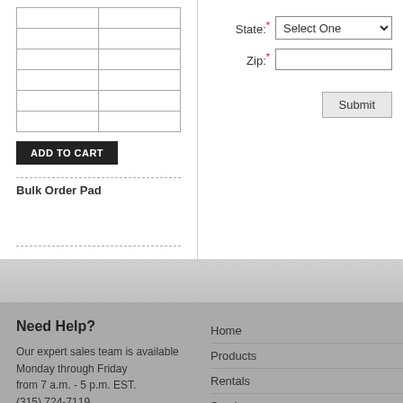|  |  |
|  |  |
|  |  |
|  |  |
|  |  |
|  |  |
ADD TO CART
Bulk Order Pad
State: * Select One
Zip: *
Submit
Need Help?
Our expert sales team is available Monday through Friday from 7 a.m. - 5 p.m. EST.
(315) 724-7119
sales@mqb.com
Home
Products
Rentals
Service
MQB Sign Shop
Copyright © 2009 McQuade & Bannig